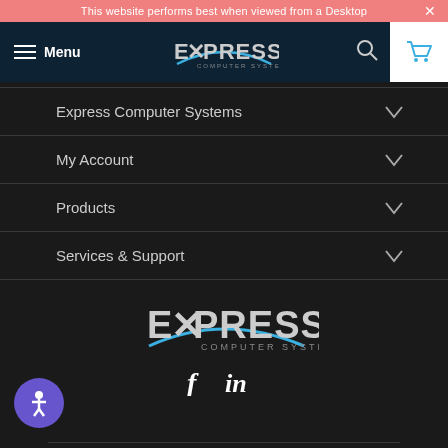This website performs best when viewed from a Desktop
[Figure (logo): Express Computer Systems logo in navigation bar]
Express Computer Systems
My Account
Products
Services & Support
[Figure (logo): Express Computer Systems logo in footer area]
[Figure (illustration): Facebook and LinkedIn social media icons]